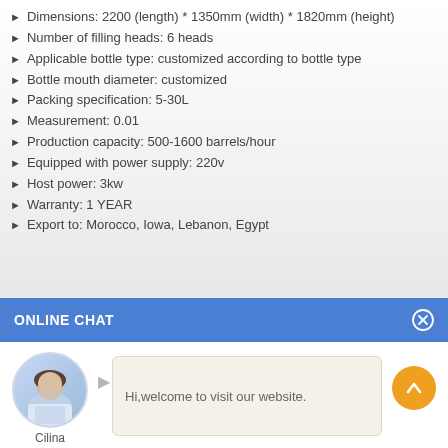Dimensions: 2200 (length) * 1350mm (width) * 1820mm (height)
Number of filling heads: 6 heads
Applicable bottle type: customized according to bottle type
Bottle mouth diameter: customized
Packing specification: 5-30L
Measurement: 0.01
Production capacity: 500-1600 barrels/hour
Equipped with power supply: 220v
Host power: 3kw
Warranty: 1 YEAR
Export to: Morocco, Iowa, Lebanon, Egypt
ONLINE CHAT
[Figure (photo): Avatar photo of a woman named Cilina with a speech bubble saying 'Hi,welcome to visit our website.']